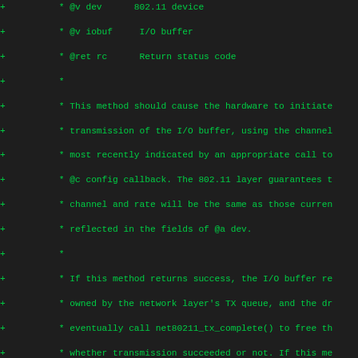[Figure (screenshot): Diff view of C source code (net80211 driver header), showing added lines (+) in green on dark background. Code includes doxygen comments and function declarations for transmit and poll methods of an 802.11 device structure.]